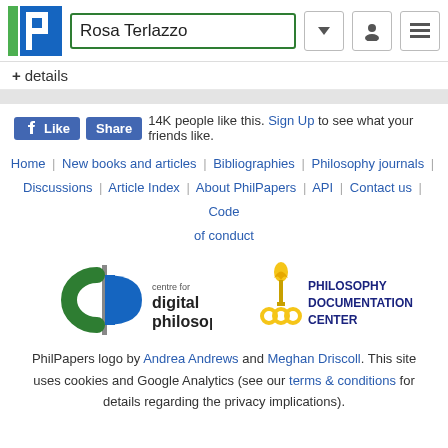Rosa Terlazzo
+ details
Like | Share — 14K people like this. Sign Up to see what your friends like.
Home | New books and articles | Bibliographies | Philosophy journals | Discussions | Article Index | About PhilPapers | API | Contact us | Code of conduct
[Figure (logo): Centre for Digital Philosophy logo and Philosophy Documentation Center logo]
PhilPapers logo by Andrea Andrews and Meghan Driscoll. This site uses cookies and Google Analytics (see our terms & conditions for details regarding the privacy implications).